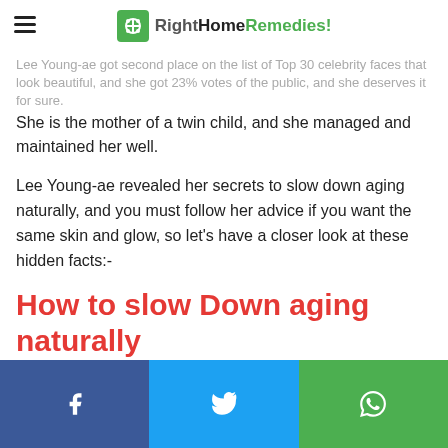RightHomeRemedies!
Lee Young-ae got second place on the list of Top 30 celebrity faces that look beautiful, and she got 23% votes of the public, and she deserves it for sure.
She is the mother of a twin child, and she managed and maintained her well.
Lee Young-ae revealed her secrets to slow down aging naturally, and you must follow her advice if you want the same skin and glow, so let’s have a closer look at these hidden facts:-
How to slow Down aging naturally